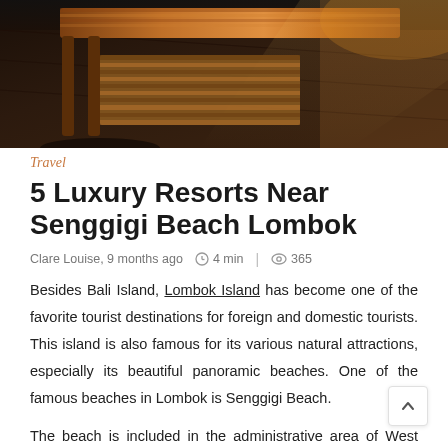[Figure (photo): Interior photo showing a wooden bench or table on a dark hardwood floor, with warm sunlight casting shadows through what appears to be a window or slatted structure. Rich brown tones throughout.]
Travel
5 Luxury Resorts Near Senggigi Beach Lombok
Clare Louise, 9 months ago   4 min  |   365
Besides Bali Island, Lombok Island has become one of the favorite tourist destinations for foreign and domestic tourists. This island is also famous for its various natural attractions, especially its beautiful panoramic beaches. One of the famous beaches in Lombok is Senggigi Beach.
The beach is included in the administrative area of West Lombok Regency is famous for its location not far from Mataram City, has beautiful views, along super complete